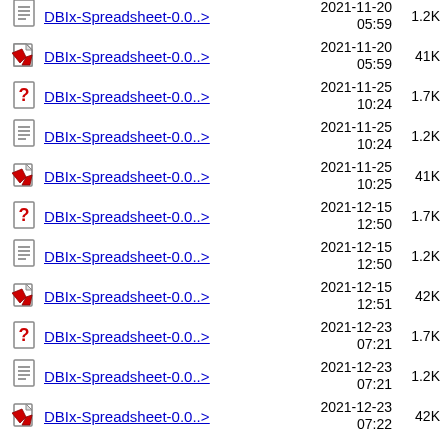DBIx-Spreadsheet-0.0..> 2021-11-20 05:59 1.2K
DBIx-Spreadsheet-0.0..> 2021-11-20 05:59 41K
DBIx-Spreadsheet-0.0..> 2021-11-25 10:24 1.7K
DBIx-Spreadsheet-0.0..> 2021-11-25 10:24 1.2K
DBIx-Spreadsheet-0.0..> 2021-11-25 10:25 41K
DBIx-Spreadsheet-0.0..> 2021-12-15 12:50 1.7K
DBIx-Spreadsheet-0.0..> 2021-12-15 12:50 1.2K
DBIx-Spreadsheet-0.0..> 2021-12-15 12:51 42K
DBIx-Spreadsheet-0.0..> 2021-12-23 07:21 1.7K
DBIx-Spreadsheet-0.0..> 2021-12-23 07:21 1.2K
DBIx-Spreadsheet-0.0..> 2021-12-23 07:22 42K